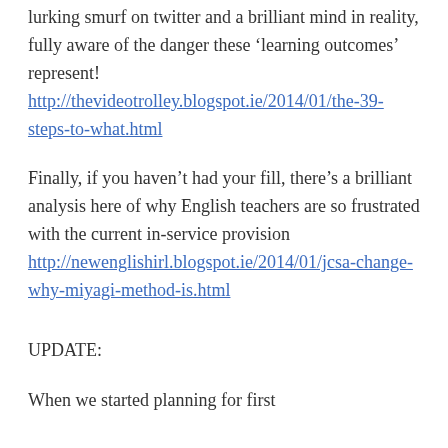lurking smurf on twitter and a brilliant mind in reality, fully aware of the danger these ‘learning outcomes’ represent! http://thevideotrolley.blogspot.ie/2014/01/the-39-steps-to-what.html
Finally, if you haven’t had your fill, there’s a brilliant analysis here of why English teachers are so frustrated with the current in-service provision http://newenglishirl.blogspot.ie/2014/01/jcsa-change-why-miyagi-method-is.html
UPDATE:
When we started planning for first